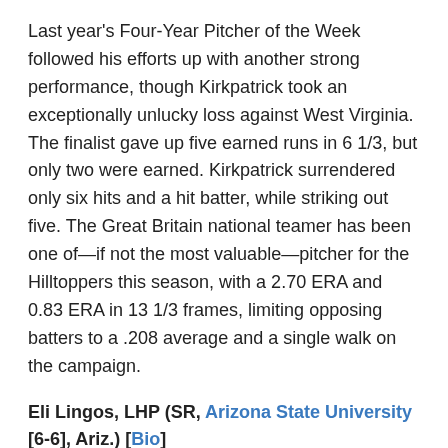Last year's Four-Year Pitcher of the Week followed his efforts up with another strong performance, though Kirkpatrick took an exceptionally unlucky loss against West Virginia. The finalist gave up five earned runs in 6 1/3, but only two were earned. Kirkpatrick surrendered only six hits and a hit batter, while striking out five. The Great Britain national teamer has been one of—if not the most valuable—pitcher for the Hilltoppers this season, with a 2.70 ERA and 0.83 ERA in 13 1/3 frames, limiting opposing batters to a .208 average and a single walk on the campaign.
Eli Lingos, LHP (SR, Arizona State University [6-6], Ariz.) [Bio]
Lingos (2-1) had, by far, his best start of the season on Saturday, tossing 5 2/3 innings and allowing only one run